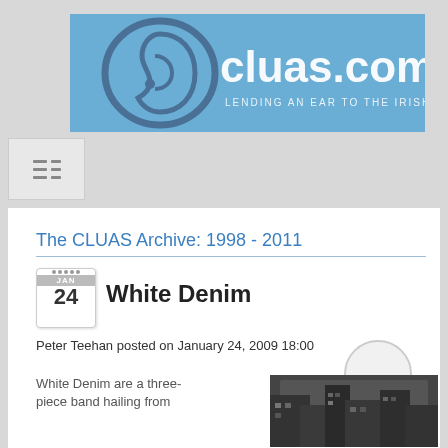[Figure (logo): cluas.com logo — blue background with an ear illustration and text 'cluas.com LENDING AN EAR TO THE IRISH MUSIC SCENE']
[Figure (other): Menu/hamburger icon with rows of short horizontal lines]
The CLUAS Archive: 1998 - 2011
White Denim
Peter Teehan posted on January 24, 2009 18:00
White Denim are a three-piece band hailing from
[Figure (photo): Photograph of a building exterior, dark tones]